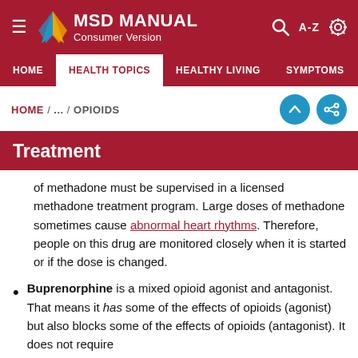[Figure (screenshot): MSD Manual Consumer Version website header with logo, hamburger menu, search icon, A-Z index, and settings icon on dark red background]
HOME / ... / OPIOIDS
Treatment
of methadone must be supervised in a licensed methadone treatment program. Large doses of methadone sometimes cause abnormal heart rhythms. Therefore, people on this drug are monitored closely when it is started or if the dose is changed.
Buprenorphine is a mixed opioid agonist and antagonist. That means it has some of the effects of opioids (agonist) but also blocks some of the effects of opioids (antagonist). It does not require